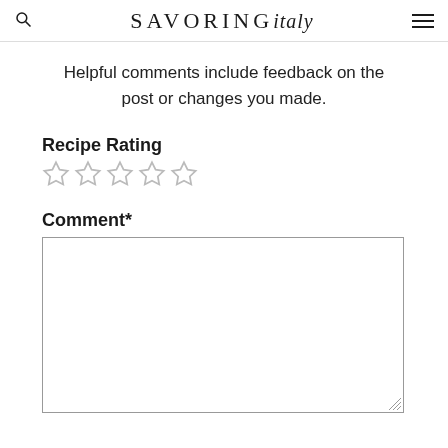SAVORING italy
Helpful comments include feedback on the post or changes you made.
Recipe Rating
[Figure (other): Five empty star rating icons]
Comment*
[Figure (other): Empty comment text area input box]